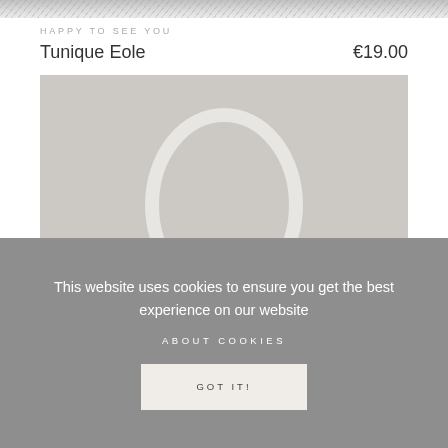[Figure (photo): Partial view of a patterned textile/fabric product at the top of the page]
HAPPY TO SEE YOU
Tunique Eole           €19.00
[Figure (photo): Product photo showing a white arch/oval shaped accessory (possibly a bag handle or decorative object) on a light grey background]
This website uses cookies to ensure you get the best experience on our website
ABOUT COOKIES
GOT IT!